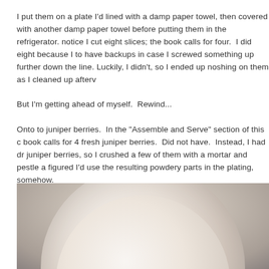I put them on a plate I'd lined with a damp paper towel, then covered with another damp paper towel before putting them in the refrigerator. notice I cut eight slices; the book calls for four.  I did eight because I to have backups in case I screwed something up further down the line. Luckily, I didn't, so I ended up noshing on them as I cleaned up afterv

But I'm getting ahead of myself.  Rewind...

Onto to juniper berries.  In the "Assemble and Serve" section of this c book calls for 4 fresh juniper berries.  Did not have.  Instead, I had dr juniper berries, so I crushed a few of them with a mortar and pestle a figured I'd use the resulting powdery parts in the plating, somehow.
[Figure (photo): Close-up photo of a ceramic plate or bowl, beige/taupe colored, viewed from above at an angle. The plate appears to be a simple round dish with a slightly raised rim, shown against a similar toned background.]